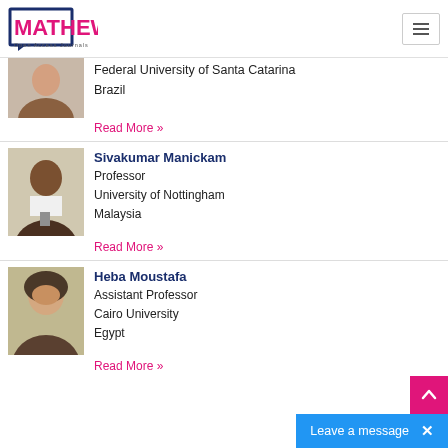[Figure (logo): Mathews Open Access Journals logo with pink text and dark blue bracket frame]
Federal University of Santa Catarina
Brazil
Read More »
Sivakumar Manickam
Professor
University of Nottingham
Malaysia
Read More »
Heba Moustafa
Assistant Professor
Cairo University
Egypt
Read More »